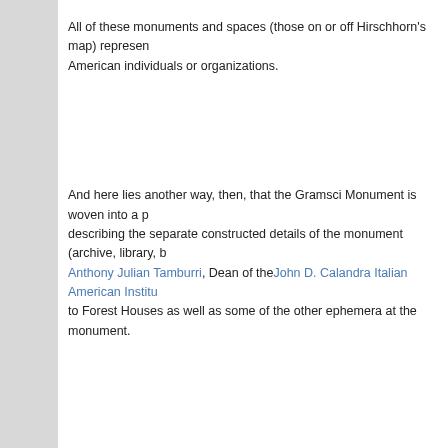All of these monuments and spaces (those on or off Hirschhorn's map) represent efforts by African American individuals or organizations.
And here lies another way, then, that the Gramsci Monument is woven into a p... describing the separate constructed details of the monument (archive, library, b... Anthony Julian Tamburri, Dean of the John D. Calandra Italian American Institu... to Forest Houses as well as some of the other ephemera at the monument.